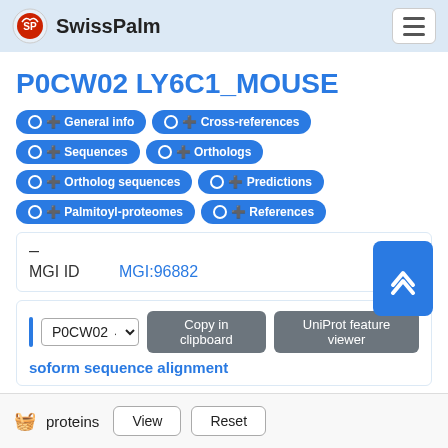SwissPalm
P0CW02 LY6C1_MOUSE
General info | Cross-references | Sequences | Orthologs | Ortholog sequences | Predictions | Palmitoyl-proteomes | References
MGI ID   MGI:96882
P0CW02  Copy in clipboard  UniProt feature viewer  soform sequence alignment
Tip: Hover over an amino acid to display its position!
proteins  View  Reset